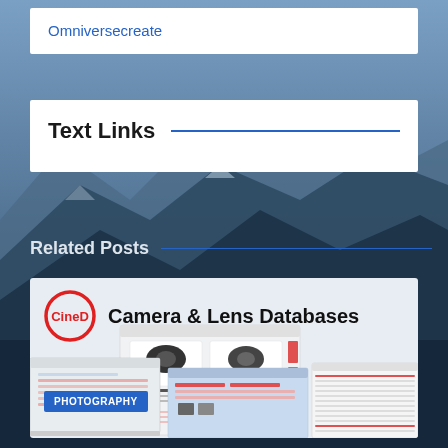Omniversecreate
Text Links
Related Posts
[Figure (screenshot): CineD Camera & Lens Databases promotional image showing screenshots of camera comparison interface on laptop, monitor, and tablet screens, with PHOTOGRAPHY badge]
PHOTOGRAPHY